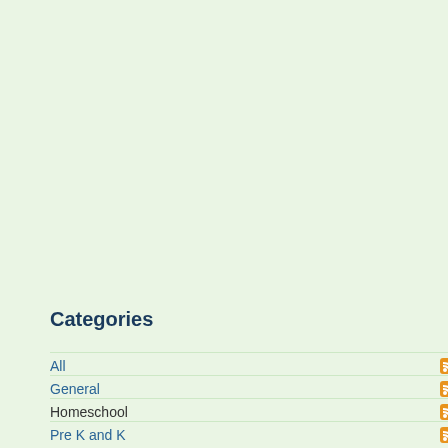Capitalize on what comes."
Created by William03 11 years 47 w
Category: Blogs  Tags: Blogs blog
Login to post comments
Categories
All
General
Homeschool
Pre K and K
Art and Bible
Language
Social Studies
Math
Science
Teaching Resources
[Figure (other): Vote box with number 1 and +Vote button]
professional resume
http://www.resumesplanet.com – t
resume service by students w
resume help. We got a gene
give you a great CV's and re
Created by MalindaBryon 12 years
Category: Others  Tags: Others o
Login to post comments
[Figure (other): Vote box with number 2 and +Vote button]
America Conquers A
http://americanshistory.blogspot.co
even in elementary school w
Hawk, North Carolina is sign
history, Pulauweb Web Hostin